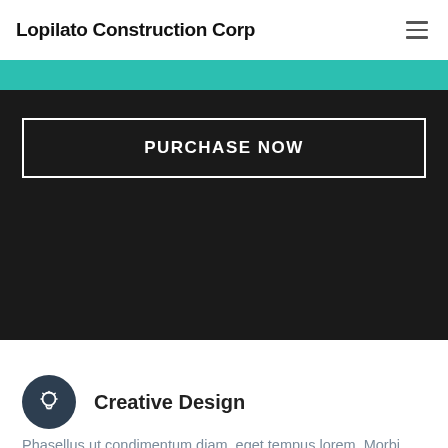Lopilato Construction Corp
[Figure (other): Teal/green banner strip across the top]
PURCHASE NOW
Creative Design
Phasellus ut condimentum diam, eget tempus lorem. Morbi